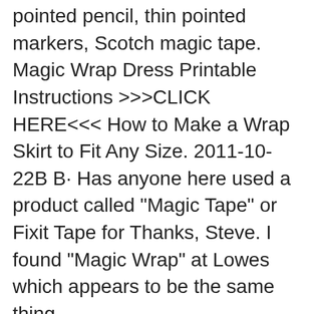pointed pencil, thin pointed markers, Scotch magic tape. Magic Wrap Dress Printable Instructions >>>CLICK HERE<<< How to Make a Wrap Skirt to Fit Any Size. 2011-10-22B B· Has anyone here used a product called "Magic Tape" or Fixit Tape for Thanks, Steve. I found "Magic Wrap" at Lowes which appears to be the same thing.
Magic WrapB® P.O. Box 2484, Fayetteville, North Carolina 28302 (800) 542-7011 Fax: (910) 483-0784 www.UTECK.com EMERGENCY REPAIR KIT ON A ROLL Overview. Protects against blisters, cuts and sores; Special texture allows for smooth release; Use with or without finger inserts; Roll